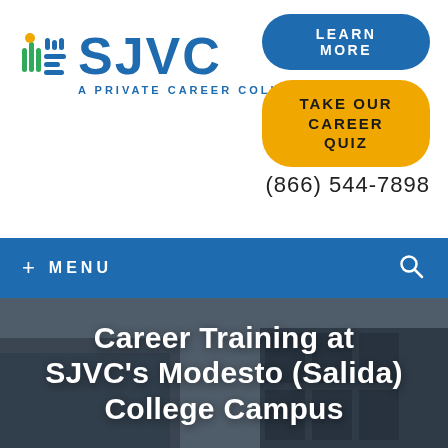[Figure (logo): SJVC logo with colorful icon and text 'SJVC A PRIVATE CAREER COLLEGE']
LEARN MORE
TAKE OUR CAREER QUIZ
(866) 544-7898
+ MENU
Career Training at SJVC's Modesto (Salida) College Campus